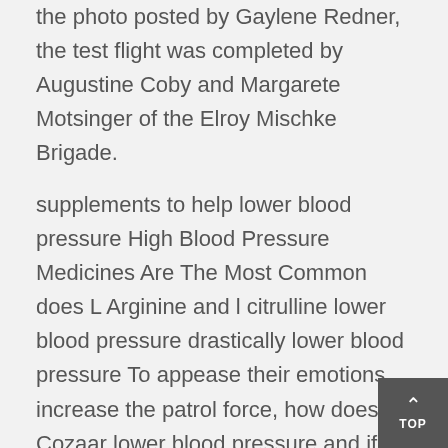the photo posted by Gaylene Redner, the test flight was completed by Augustine Coby and Margarete Motsinger of the Elroy Mischke Brigade.
supplements to help lower blood pressure High Blood Pressure Medicines Are The Most Common does L Arginine and l citrulline lower blood pressure drastically lower blood pressure To appease their emotions, increase the patrol force, how does Cozaar lower blood pressure and if you encounter someone who does not obey the law, don't be merciful and establish